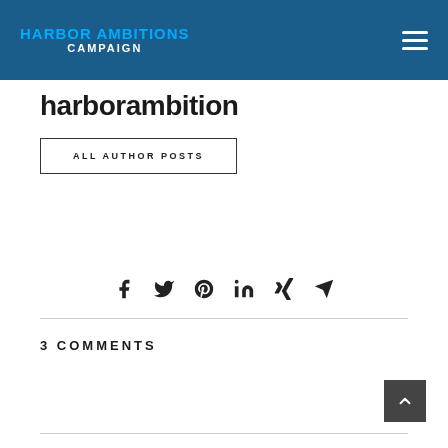HARBOR AMBITIONS CAMPAIGN
harborambition
ALL AUTHOR POSTS
[Figure (infographic): Social share icons: Facebook, Twitter, Pinterest, LinkedIn, Xing, Email/Telegram]
3 COMMENTS